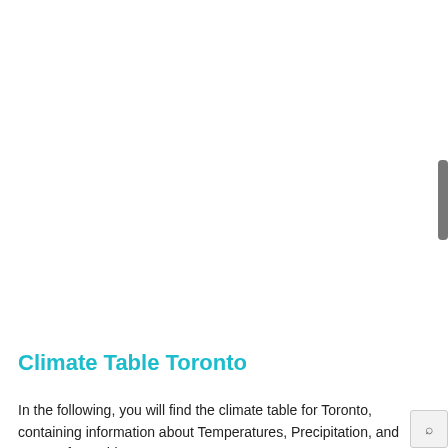Climate Table Toronto
In the following, you will find the climate table for Toronto, containing information about Temperatures, Precipitation, and Hours of Sunshine.